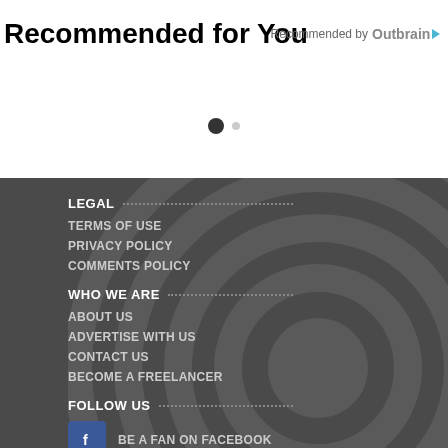Recommended for You
Recommended by Outbrain
LEGAL
TERMS OF USE
PRIVACY POLICY
COMMENTS POLICY
WHO WE ARE
ABOUT US
ADVERTISE WITH US
CONTACT US
BECOME A FREELANCER
FOLLOW US
BE A FAN ON FACEBOOK
FOLLOW US ON TWITTER
FOLLOW US ON INSTAGRAM